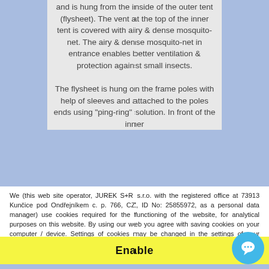and is hung from the inside of the outer tent (flysheet). The vent at the top of the inner tent is covered with airy & dense mosquito-net. The airy & dense mosquito-net in entrance enables better ventilation & protection against small insects. The flysheet is hung on the frame poles with help of sleeves and attached to the poles ends using "ping-ring" solution. In front of the inner
We (this web site operator, JUREK S+R s.r.o. with the registered office at 73913 Kunčice pod Ondřejníkem c. p. 766, CZ, ID No: 25855972, as a personal data manager) use cookies required for the functioning of the website, for analytical purposes on this website. By using our web you agree with saving cookies on your computer / device. Settings of cookies may be changed in the settings of your browser.
Enable